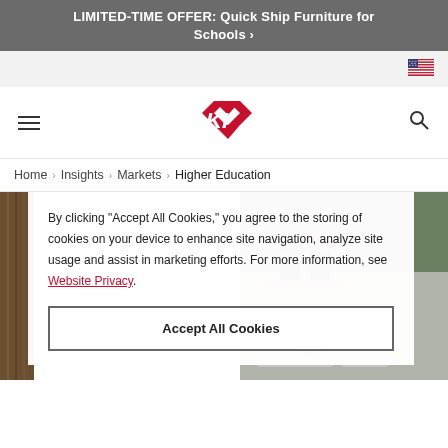LIMITED-TIME OFFER: Quick Ship Furniture for Schools >
[Figure (logo): US flag icon]
[Figure (logo): KI red logo mark — stylized K and I letters in red]
Home > Insights > Markets > Higher Education
By clicking "Accept All Cookies," you agree to the storing of cookies on your device to enhance site navigation, analyze site usage and assist in marketing efforts. For more information, see Website Privacy.
Accept All Cookies
[Figure (photo): Students working at tables in a higher education lounge space with wood furniture and a sofa chair in foreground]